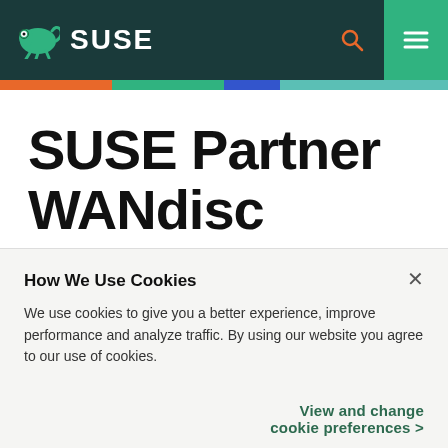SUSE
SUSE Partner WANdisc...
How We Use Cookies
We use cookies to give you a better experience, improve performance and analyze traffic. By using our website you agree to our use of cookies.
View and change cookie preferences >